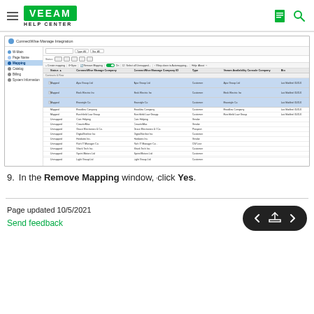Veeam Help Center
[Figure (screenshot): Screenshot of ConnectWise Manage Integration UI showing a table of company mappings with some rows highlighted in blue. Columns include Status, ConnectWise Manage Company, ConnectWise Manage Company ID, Type, Veeam Availability Console Company, Bio.]
9. In the Remove Mapping window, click Yes.
Page updated 10/5/2021
Send feedback